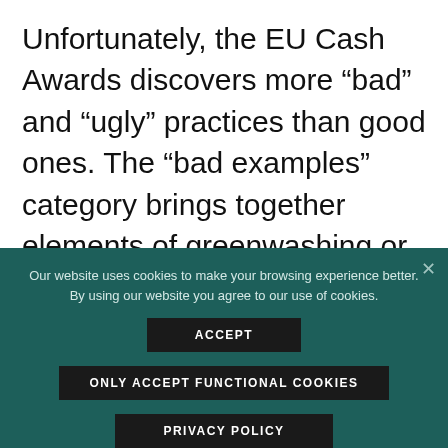Unfortunately, the EU Cash Awards discovers more “bad” and “ugly” practices than good ones. The “bad examples” category brings together elements of greenwashing or partially good measures that are missing the opportunity for a real change. These include: missed opportunities for low carbon
Our website uses cookies to make your browsing experience better. By using our website you agree to our use of cookies.
ACCEPT
ONLY ACCEPT FUNCTIONAL COOKIES
PRIVACY POLICY